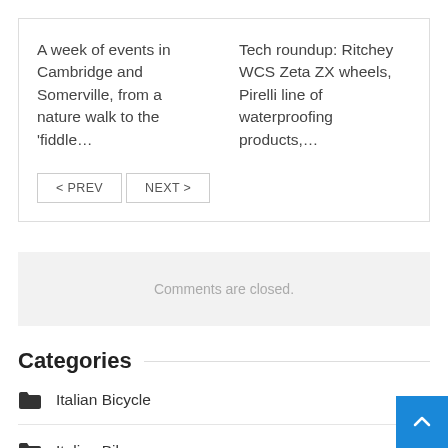A week of events in Cambridge and Somerville, from a nature walk to the 'fiddle…
Tech roundup: Ritchey WCS Zeta ZX wheels, Pirelli line of waterproofing products,…
< PREV   NEXT >
Comments are closed.
Categories
Italian Bicycle
Italian Bike
Italian Cycle